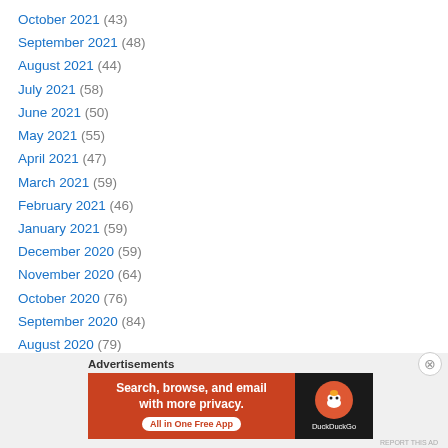October 2021 (43)
September 2021 (48)
August 2021 (44)
July 2021 (58)
June 2021 (50)
May 2021 (55)
April 2021 (47)
March 2021 (59)
February 2021 (46)
January 2021 (59)
December 2020 (59)
November 2020 (64)
October 2020 (76)
September 2020 (84)
August 2020 (79)
July 2020 (78)
[Figure (screenshot): DuckDuckGo advertisement banner: 'Search, browse, and email with more privacy. All in One Free App' with DuckDuckGo logo on dark background]